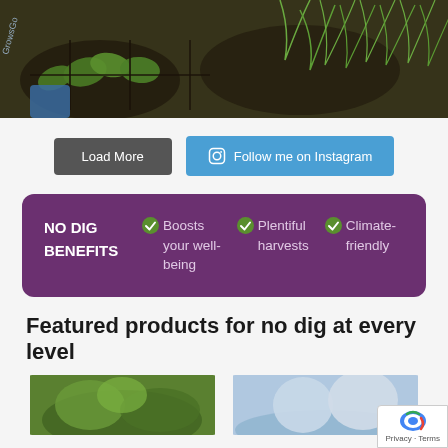[Figure (photo): Top photo showing seedling plants in soil trays, dark green herbs and leafy plants]
Load More
Follow me on Instagram
NO DIG BENEFITS ✓ Boosts your well-being ✓ Plentiful harvests ✓ Climate-friendly
Featured products for no dig at every level
[Figure (photo): Two product photos at the bottom of the page]